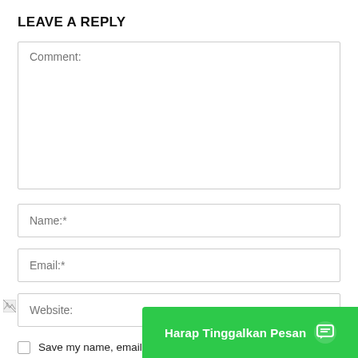LEAVE A REPLY
[Figure (screenshot): Web comment form with fields: Comment, Name, Email, Website, and a checkbox for saving name/email. A green chat button overlay reads 'Harap Tinggalkan Pesan'.]